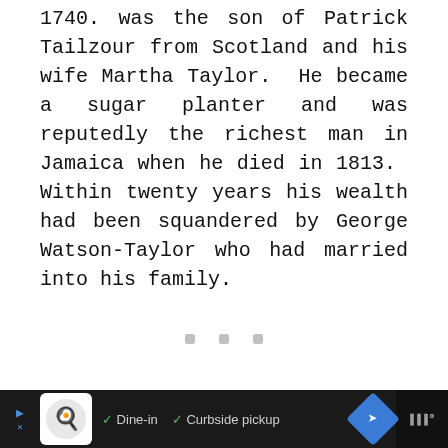1740. was the son of Patrick Tailzour from Scotland and his wife Martha Taylor.  He became a sugar planter and was reputedly the richest man in Jamaica when he died in 1813.  Within twenty years his wealth had been squandered by George Watson-Taylor who had married into his family.
Ad: Dine-in  Curbside pickup